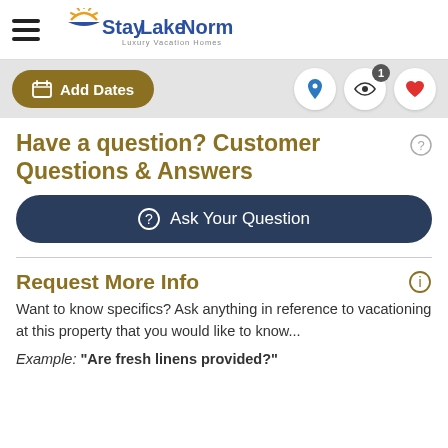StayLakeNorman – Luxury Vacation Homes
Have a question? Customer Questions & Answers
Ask Your Question
Request More Info
Want to know specifics? Ask anything in reference to vacationing at this property that you would like to know...
Example: "Are fresh linens provided?"